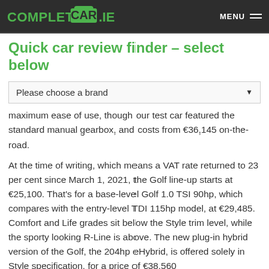COMPLETECAR.IE | MENU
Quick car review finder – select below
Please choose a brand
maximum ease of use, though our test car featured the standard manual gearbox, and costs from €36,145 on-the-road.
At the time of writing, which means a VAT rate returned to 23 per cent since March 1, 2021, the Golf line-up starts at €25,100. That's for a base-level Golf 1.0 TSI 90hp, which compares with the entry-level TDI 115hp model, at €29,485. Comfort and Life grades sit below the Style trim level, while the sporty looking R-Line is above. The new plug-in hybrid version of the Golf, the 204hp eHybrid, is offered solely in Style specification, for a price of €38,560